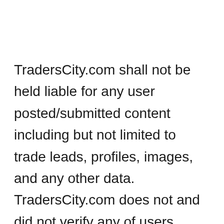TradersCity.com shall not be held liable for any user posted/submitted content including but not limited to trade leads, profiles, images, and any other data. TradersCity.com does not and did not verify any of users posted/submitted data nor is implicitly or explicitly recommending these business offers. TradersCity does not verify truthfulness, accuracy, completeness, nor legality of any businesses, services, and leads posted